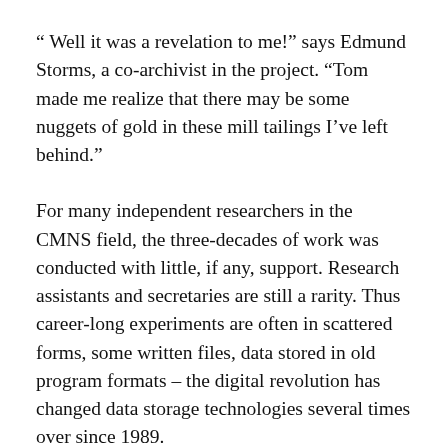“ Well it was a revelation to me!” says Edmund Storms, a co-archivist in the project. “Tom made me realize that there may be some nuggets of gold in these mill tailings I’ve left behind.”
For many independent researchers in the CMNS field, the three-decades of work was conducted with little, if any, support. Research assistants and secretaries are still a rarity. Thus career-long experiments are often in scattered forms, some written files, data stored in old program formats – the digital revolution has changed data storage technologies several times over since 1989.